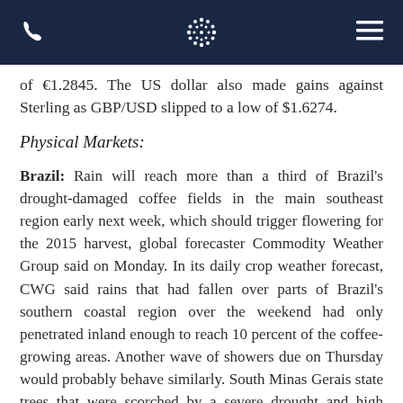[Navigation bar with phone icon, logo, and menu icon]
of €1.2845. The US dollar also made gains against Sterling as GBP/USD slipped to a low of $1.6274.
Physical Markets:
Brazil: Rain will reach more than a third of Brazil's drought-damaged coffee fields in the main southeast region early next week, which should trigger flowering for the 2015 harvest, global forecaster Commodity Weather Group said on Monday. In its daily crop weather forecast, CWG said rains that had fallen over parts of Brazil's southern coastal region over the weekend had only penetrated inland enough to reach 10 percent of the coffee-growing areas. Another wave of showers due on Thursday would probably behave similarly. South Minas Gerais state trees that were scorched by a severe drought and high temperatures in